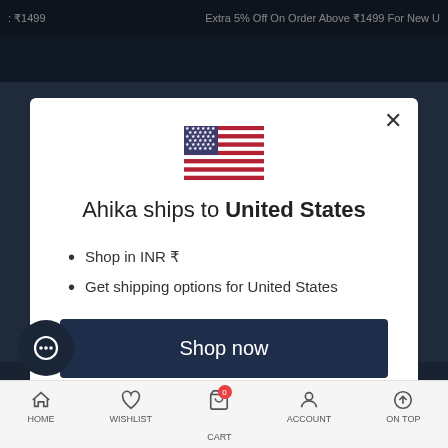₹1499   Extra 5% Off On Order Above ₹1499 For New U
[Figure (screenshot): Modal dialog showing shipping destination notification for Ahika e-commerce site. Contains US flag, title 'Ahika ships to United States', bullet points listing INR currency and shipping options, a 'Shop now' button, and a 'Change shipping country' link.]
Ahika ships to United States
Shop in INR ₹
Get shipping options for United States
Shop now
Change shipping country
HOME   WISHLIST   CART   ACCOUNT   ON TOP